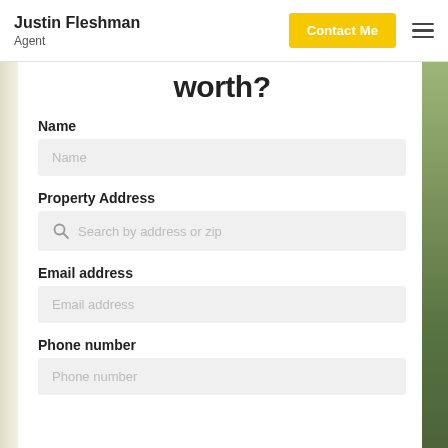Justin Fleshman | Agent | Contact Me
worth?
Name
Name (placeholder)
Property Address
Search by address or zip
Email address
Email address (placeholder)
Phone number
Phone number (placeholder)